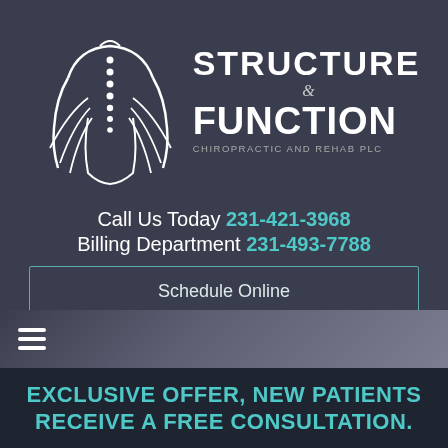[Figure (logo): Structure & Function Chiropractic and Rehab PLC logo with white silhouette of human back/spine and nerve roots]
STRUCTURE & FUNCTION
Chiropractic and Rehab PLC
Call Us Today 231-421-3968
Billing Department 231-493-7788
Schedule Online
[Figure (other): Hamburger navigation menu icon (three horizontal lines)]
EXCLUSIVE OFFER, NEW PATIENTS RECEIVE A FREE CONSULTATION.